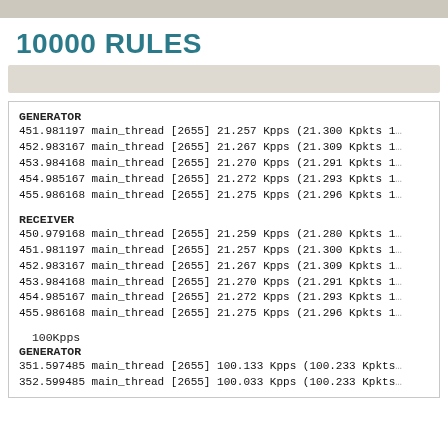10000 RULES
GENERATOR
451.981197 main_thread [2655] 21.257 Kpps (21.300 Kpkts 1
452.983167 main_thread [2655] 21.267 Kpps (21.309 Kpkts 1
453.984168 main_thread [2655] 21.270 Kpps (21.291 Kpkts 1
454.985167 main_thread [2655] 21.272 Kpps (21.293 Kpkts 1
455.986168 main_thread [2655] 21.275 Kpps (21.296 Kpkts 1
RECEIVER
450.979168 main_thread [2655] 21.259 Kpps (21.280 Kpkts 1
451.981197 main_thread [2655] 21.257 Kpps (21.300 Kpkts 1
452.983167 main_thread [2655] 21.267 Kpps (21.309 Kpkts 1
453.984168 main_thread [2655] 21.270 Kpps (21.291 Kpkts 1
454.985167 main_thread [2655] 21.272 Kpps (21.293 Kpkts 1
455.986168 main_thread [2655] 21.275 Kpps (21.296 Kpkts 1
100Kpps
GENERATOR
351.597485 main_thread [2655] 100.133 Kpps (100.233 Kpkts
352.599485 main_thread [2655] 100.033 Kpps (100.233 Kpkts